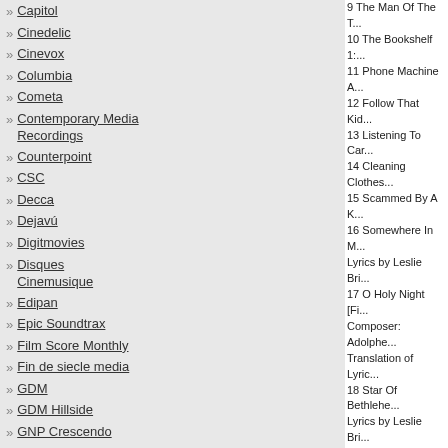Capitol
Cinedelic
Cinevox
Columbia
Cometa
Contemporary Media Recordings
Counterpoint
CSC
Decca
Dejavú
Digitmovies
Disques Cinemusique
Edipan
Epic Soundtrax
Film Score Monthly
Fin de siecle media
GDM
GDM Hillside
GNP Crescendo
Harkit
Heristal
Hexacord
Hollywood Records
Intrada
Irma
9 The Man Of The Th...
10 The Bookshelf 1:...
11 Phone Machine A...
12 Follow That Kid...
13 Listening To Car...
14 Cleaning Clothes...
15 Scammed By A K...
16 Somewhere In M...
Lyrics by Leslie Bri...
17 O Holy Night [Fi...
Composer: Adolphe...
Translation of Lyric...
18 Star Of Bethlehem...
Lyrics by Leslie Bri...
19 Carol Of The Be...
Music & Lyrics by ...
20 Setting The Trap...
21 The Attack Begin...
22 Marv Enters The...
23 Paint Cans 2:06
24 Clothesline Trap...
25 Have Yourself A...
26 The Next Mornin...
27 We Wish You A M...
Lyrics by Leslie Bri...

ADDITIONAL MU...
28 Star Of Bethlehe...
29 Somewhere In M...
30 Jingle Bells 1:02...
31 Christmas Carol...
32 Silent Night* 1:5...
33 God Rest You M...
34 O Holy Night (A...
35 Somewhere In M...
Lyrics by Leslie Bri...

DISC 2 (Total Disc ...

THE 1990 SOUND...
1 Home Alone Mai...